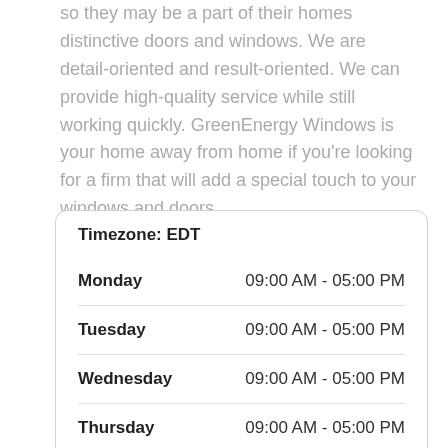so they may be a part of their homes distinctive doors and windows. We are detail-oriented and result-oriented. We can provide high-quality service while still working quickly. GreenEnergy Windows is your home away from home if you're looking for a firm that will add a special touch to your windows and doors.
| Day | Hours |
| --- | --- |
| Monday | 09:00 AM - 05:00 PM |
| Tuesday | 09:00 AM - 05:00 PM |
| Wednesday | 09:00 AM - 05:00 PM |
| Thursday | 09:00 AM - 05:00 PM |
| Friday | 09:00 AM - 05:00 PM |